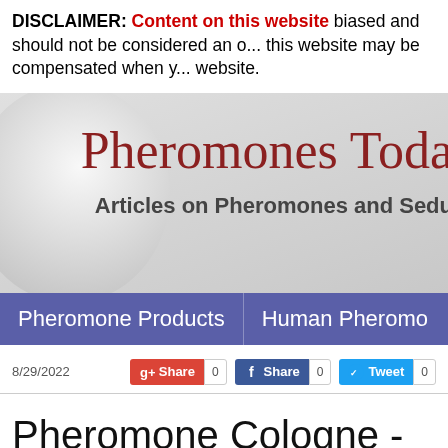DISCLAIMER: Content on this website biased and should not be considered an official source. The owner of this website may be compensated when you click links on this website.
[Figure (screenshot): Pheromones Today website banner with site title and subtitle 'Articles on Pheromones and Sedu...']
Pheromone Products | Human Pheromo...
8/29/2022
Pheromone Cologne - Do seduce Others?